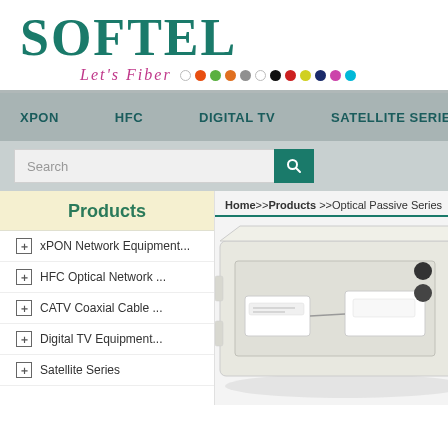[Figure (logo): SOFTEL company logo with 'Let's Fiber' tagline and colored dots]
xPON | HFC | DIGITAL TV | SATELLITE SERIES
Search
Products
Home>>Products >>Optical Passive Series
xPON Network Equipment...
HFC Optical Network ...
CATV Coaxial Cable ...
Digital TV Equipment...
Satellite Series
[Figure (photo): Fiber optic distribution box / optical passive device, white/beige colored hardware product photo]